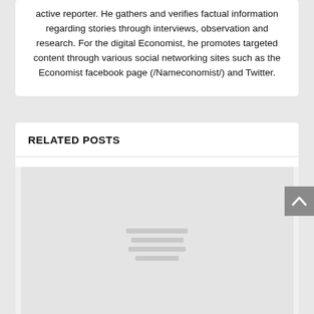active reporter. He gathers and verifies factual information regarding stories through interviews, observation and research. For the digital Economist, he promotes targeted content through various social networking sites such as the Economist facebook page (/Nameconomist/) and Twitter.
RELATED POSTS
[Figure (other): A light gray image placeholder with three horizontal gray lines in the center, indicating a loading or empty image state.]